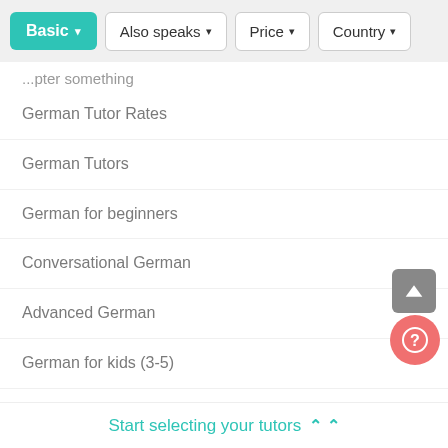[Figure (screenshot): Filter bar with Basic (active/teal), Also speaks, Price, Country dropdown buttons]
...pter something
German Tutor Rates
German Tutors
German for beginners
Conversational German
Advanced German
German for kids (3-5)
German for adults
Start selecting your tutors ⌃⌃